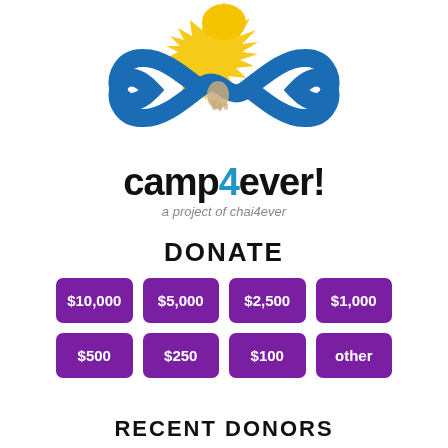[Figure (logo): camp4ever! logo with infinity symbol in blue, hand inside, yellow sunburst on top, text 'camp4ever!' in black with '4' in blue, subtitle 'a project of chai4ever']
DONATE
$10,000
$5,000
$2,500
$1,000
$500
$250
$100
other
RECENT DONORS